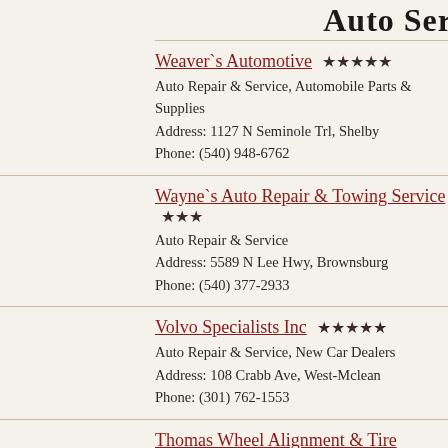Auto Ser...
Weaver`s Automotive ★★★★★
Auto Repair & Service, Automobile Parts & Supplies
Address: 1127 N Seminole Trl, Shelby
Phone: (540) 948-6762
Wayne`s Auto Repair & Towing Service ★★★
Auto Repair & Service
Address: 5589 N Lee Hwy, Brownsburg
Phone: (540) 377-2933
Volvo Specialists Inc ★★★★★
Auto Repair & Service, New Car Dealers
Address: 108 Crabb Ave, West-Mclean
Phone: (301) 762-1553
Thomas Wheel Alignment & Tire Service ★★★
Auto Repair & Service, Automobile Parts & Supplies